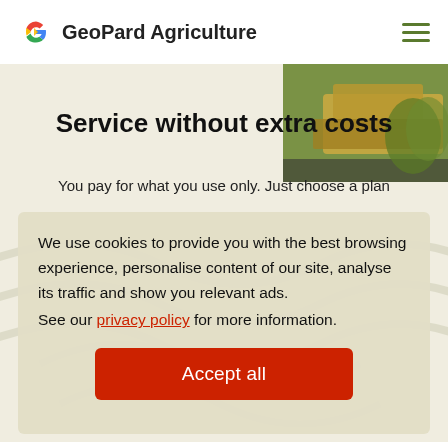GeoPard Agriculture
Service without extra costs
You pay for what you use only. Just choose a plan
[Figure (photo): Agricultural machinery/equipment photo in top right corner]
We use cookies to provide you with the best browsing experience, personalise content of our site, analyse its traffic and show you relevant ads.
See our privacy policy for more information.
Accept all